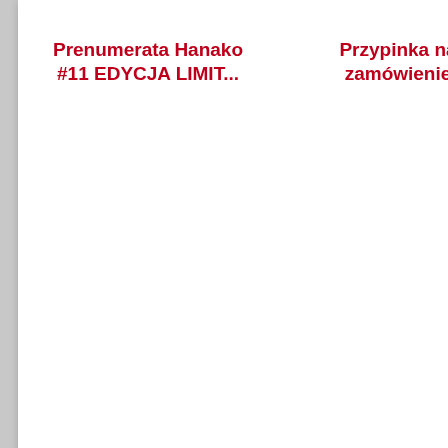Prenumerata Hanako #11 EDYCJA LIMIT...
Przypinka na zamówienie
Prenumerata Hanako #12 EDYCJA LIMIT...
Projekt: cosplay #02
Hanako, duch ze szkolnej toalety #0...
Recenzje:
Będziesz mógł oceniać
Kontakt   Polityka cookies   Regulamin   Czytaj Shaman King online
Strona korzysta z plików cookies w celu realizacji usług i zgodnie z Polityką Plików c...